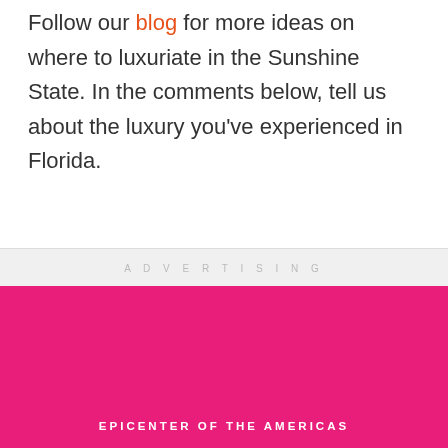Follow our blog for more ideas on where to luxuriate in the Sunshine State. In the comments below, tell us about the luxury you've experienced in Florida.
ADVERTISING
[Figure (photo): Pink advertisement banner with a photo showing two people in uniform/sunglasses in front of a modern building with blue sky. Text at bottom reads 'EPICENTER OF THE AMERICAS'.]
EPICENTER OF THE AMERICAS